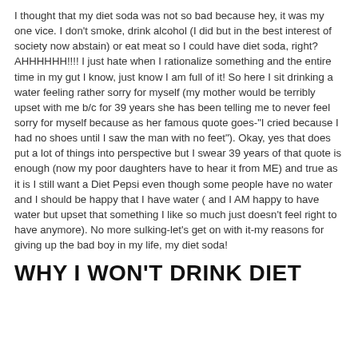I thought that my diet soda was not so bad because hey, it was my one vice. I don't smoke, drink alcohol (I did but in the best interest of society now abstain) or eat meat so I could have diet soda, right? AHHHHHH!!!! I just hate when I rationalize something and the entire time in my gut I know, just know I am full of it! So here I sit drinking a water feeling rather sorry for myself (my mother would be terribly upset with me b/c for 39 years she has been telling me to never feel sorry for myself because as her famous quote goes-"I cried because I had no shoes until I saw the man with no feet"). Okay, yes that does put a lot of things into perspective but I swear 39 years of that quote is enough (now my poor daughters have to hear it from ME) and true as it is I still want a Diet Pepsi even though some people have no water and I should be happy that I have water ( and I AM happy to have water but upset that something I like so much just doesn't feel right to have anymore). No more sulking-let's get on with it-my reasons for giving up the bad boy in my life, my diet soda!
WHY I WON'T DRINK DIET